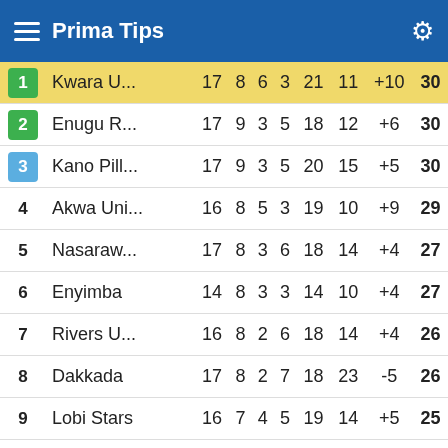Prima Tips
| # | Team | P | W | D | L | GF | GA | GD | Pts |
| --- | --- | --- | --- | --- | --- | --- | --- | --- | --- |
| 1 | Kwara U... | 17 | 8 | 6 | 3 | 21 | 11 | +10 | 30 |
| 2 | Enugu R... | 17 | 9 | 3 | 5 | 18 | 12 | +6 | 30 |
| 3 | Kano Pill... | 17 | 9 | 3 | 5 | 20 | 15 | +5 | 30 |
| 4 | Akwa Uni... | 16 | 8 | 5 | 3 | 19 | 10 | +9 | 29 |
| 5 | Nasaraw... | 17 | 8 | 3 | 6 | 18 | 14 | +4 | 27 |
| 6 | Enyimba | 14 | 8 | 3 | 3 | 14 | 10 | +4 | 27 |
| 7 | Rivers U... | 16 | 8 | 2 | 6 | 18 | 14 | +4 | 26 |
| 8 | Dakkada | 17 | 8 | 2 | 7 | 18 | 23 | -5 | 26 |
| 9 | Lobi Stars | 16 | 7 | 4 | 5 | 19 | 14 | +5 | 25 |
| 10 | Abia War... | 17 | 6 | 6 | 5 | 25 | 18 | +7 | 24 |
| 11 | ... | 17 | ... | 5 | ... | ... | ... | ... | ... |